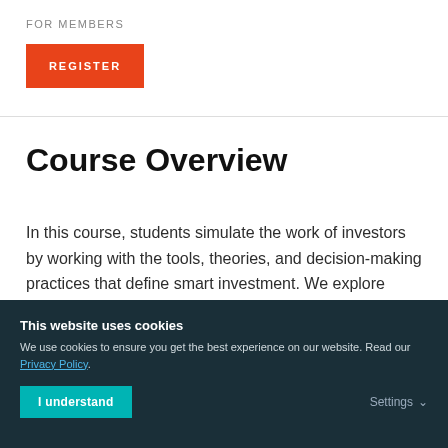FOR MEMBERS
REGISTER
Course Overview
In this course, students simulate the work of investors by working with the tools, theories, and decision-making practices that define smart investment. We explore concepts in finance and
This website uses cookies
We use cookies to ensure you get the best experience on our website. Read our Privacy Policy.
I understand
Settings